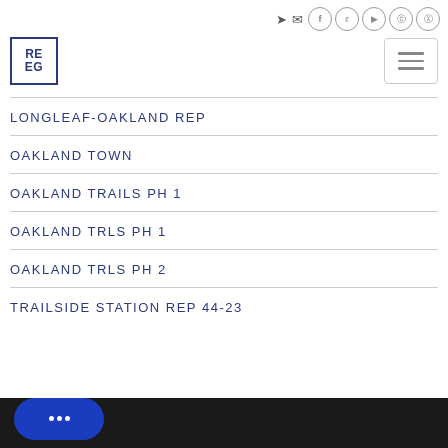[Figure (logo): REEG realtor logo in blue square border with text RE EG]
LONGLEAF-OAKLAND REP
OAKLAND TOWN
OAKLAND TRAILS PH 1
OAKLAND TRLS PH 1
OAKLAND TRLS PH 2
TRAILSIDE STATION REP 44-23